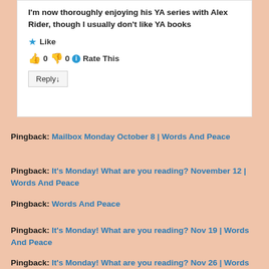I'm now thoroughly enjoying his YA series with Alex Rider, though I usually don't like YA books
★ Like
👍 0 👎 0 ℹ Rate This
Reply ↓
Pingback: Mailbox Monday October 8 | Words And Peace
Pingback: It's Monday! What are you reading? November 12 | Words And Peace
Pingback: Words And Peace
Pingback: It's Monday! What are you reading? Nov 19 | Words And Peace
Pingback: It's Monday! What are you reading? Nov 26 | Words And Peace